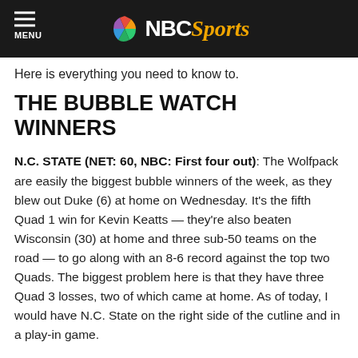NBC Sports
Here is everything you need to know to.
THE BUBBLE WATCH WINNERS
N.C. STATE (NET: 60, NBC: First four out): The Wolfpack are easily the biggest bubble winners of the week, as they blew out Duke (6) at home on Wednesday. It's the fifth Quad 1 win for Kevin Keatts — they're also beaten Wisconsin (30) at home and three sub-50 teams on the road — to go along with an 8-6 record against the top two Quads. The biggest problem here is that they have three Quad 3 losses, two of which came at home. As of today, I would have N.C. State on the right side of the cutline and in a play-in game.
INDIANA (NET: 63, NBC: 10): Indiana picked up their fifth Quad 1 win of the season on Wednesday, going into